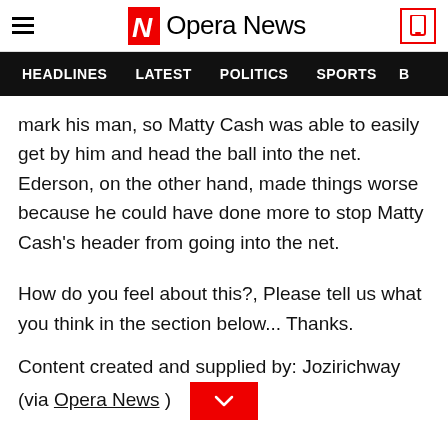Opera News
HEADLINES  LATEST  POLITICS  SPORTS
mark his man, so Matty Cash was able to easily get by him and head the ball into the net. Ederson, on the other hand, made things worse because he could have done more to stop Matty Cash's header from going into the net.
How do you feel about this?, Please tell us what you think in the section below... Thanks.
Content created and supplied by: Jozirichway (via Opera News )